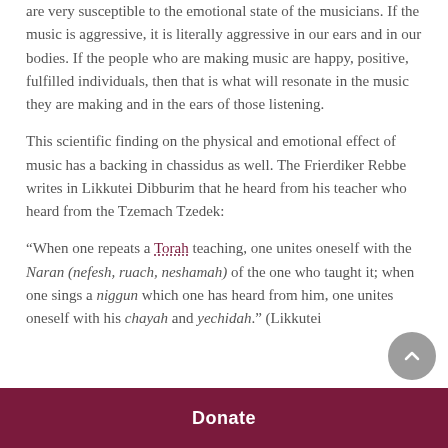are very susceptible to the emotional state of the musicians. If the music is aggressive, it is literally aggressive in our ears and in our bodies. If the people who are making music are happy, positive, fulfilled individuals, then that is what will resonate in the music they are making and in the ears of those listening.
This scientific finding on the physical and emotional effect of music has a backing in chassidus as well. The Frierdiker Rebbe writes in Likkutei Dibburim that he heard from his teacher who heard from the Tzemach Tzedek:
“When one repeats a Torah teaching, one unites oneself with the Naran (nefesh, ruach, neshamah) of the one who taught it; when one sings a niggun which one has heard from him, one unites oneself with his chayah and yechidah.” (Likkutei
Donate